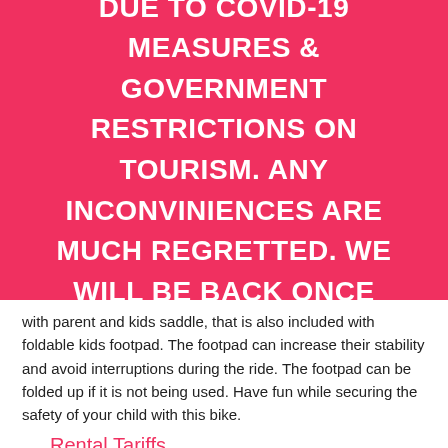WE HAD TO TEMPORARY SUSPEND OUR SERVICES DUE TO COVID-19 MEASURES & GOVERNMENT RESTRICTIONS ON TOURISM. ANY INCONVINIENCES ARE MUCH REGRETTED. WE WILL BE BACK ONCE BORDERS ARE OPEN TO TOURISM.
with parent and kids saddle, that is also included with foldable kids footpad. The footpad can increase their stability and avoid interruptions during the ride. The footpad can be folded up if it is not being used. Have fun while securing the safety of your child with this bike.
Rental Tariffs